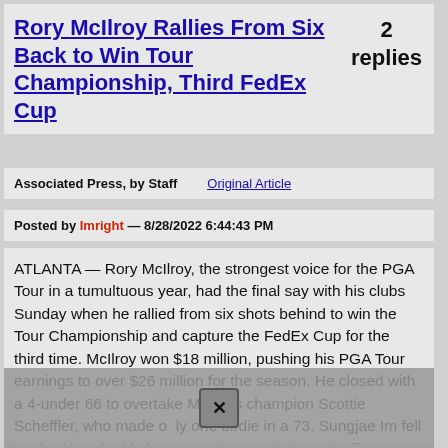Rory McIlroy Rallies From Six Back to Win Tour Championship, Third FedEx Cup
2 replies
Associated Press, by Staff   Original Article
Posted by Imright — 8/28/2022 6:44:43 PM
ATLANTA — Rory McIlroy, the strongest voice for the PGA Tour in a tumultuous year, had the final say with his clubs Sunday when he rallied from six shots behind to win the Tour Championship and capture the FedEx Cup for the third time. McIlroy won $18 million, pushing his PGA Tour earnings to over $26 million for the season. He closed with a 4-under 66 to overtake Masters champion Scottie Scheffler, who made only one birdie in a 73. Sungjae Im fell back with a double bogey on the 14th hole and still managed a 66 to tie for second with Scheffler.